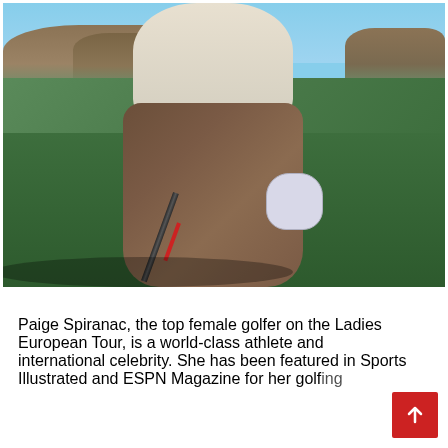[Figure (photo): A person in athletic wear holding a golf club on a golf course, shown from neck down. Wearing a cream top and brown leggings with a white golf glove. Green grass fairway in background with rocky hills and blue sky.]
Paige Spiranac, the top female golfer on the Ladies European Tour, is a world-class athlete and international celebrity. She has been featured in Sports Illustrated and ESPN Magazine for her golfing